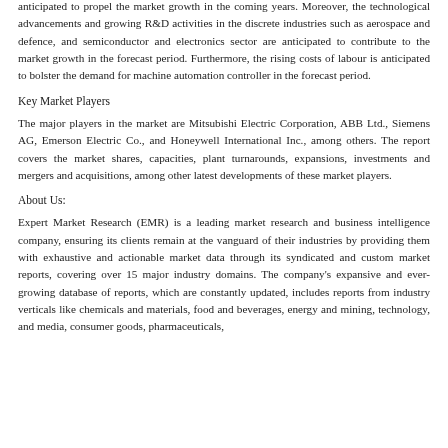anticipated to propel the market growth in the coming years. Moreover, the technological advancements and growing R&D activities in the discrete industries such as aerospace and defence, and semiconductor and electronics sector are anticipated to contribute to the market growth in the forecast period. Furthermore, the rising costs of labour is anticipated to bolster the demand for machine automation controller in the forecast period.
Key Market Players
The major players in the market are Mitsubishi Electric Corporation, ABB Ltd., Siemens AG, Emerson Electric Co., and Honeywell International Inc., among others. The report covers the market shares, capacities, plant turnarounds, expansions, investments and mergers and acquisitions, among other latest developments of these market players.
About Us:
Expert Market Research (EMR) is a leading market research and business intelligence company, ensuring its clients remain at the vanguard of their industries by providing them with exhaustive and actionable market data through its syndicated and custom market reports, covering over 15 major industry domains. The company's expansive and ever-growing database of reports, which are constantly updated, includes reports from industry verticals like chemicals and materials, food and beverages, energy and mining, technology, and media, consumer goods, pharmaceuticals,